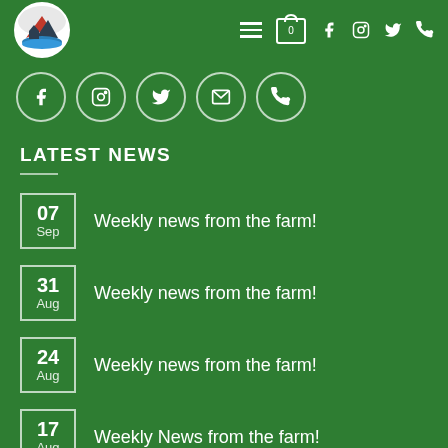[Figure (logo): Circular farm/agriculture logo with house, mountains, and water]
Navigation bar with hamburger menu, cart (0), Facebook, Instagram, Twitter, phone icons
[Figure (infographic): Row of 5 social media circle buttons: Facebook, Instagram, Twitter, Email, Phone]
LATEST NEWS
07 Sep — Weekly news from the farm!
31 Aug — Weekly news from the farm!
24 Aug — Weekly news from the farm!
17 Aug — Weekly News from the farm!